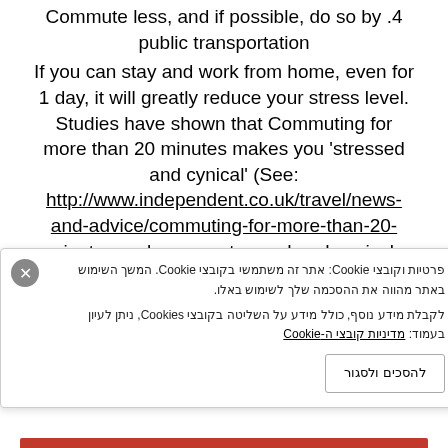Commute less, and if possible, do so by .4 public transportation If you can stay and work from home, even for 1 day, it will greatly reduce your stress level. Studies have shown that Commuting for more than 20 minutes makes you 'stressed and cynical' (See: http://www.independent.co.uk/travel/news-and-advice/commuting-for-more-than-20-minutes-makes-you-stressed-and-cynical-10278874.html). Researchers found a
פרטיות וקובצי Cookie: אתר זה משתמשי בקובצי Cookie. המשך השימוש באתר מהווה את ההסכמה שלך לשימוש באלו. לקבלת מידע נוסף, כולל מידע על השליטה בקובצי Cookies, ניתן לעיין בעמוד: מדיניות קובצי ה-Cookie
להסכים ולסגור